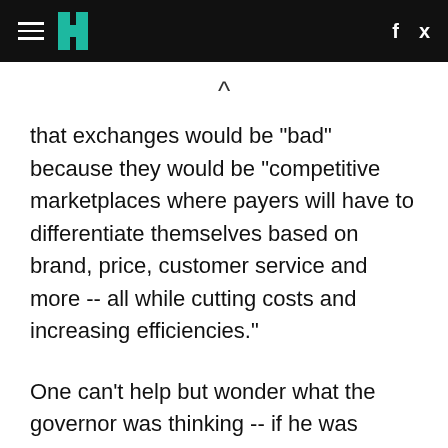HuffPost navigation header with hamburger menu, logo, Facebook and Twitter icons
that exchanges would be "bad" because they would be "competitive marketplaces where payers will have to differentiate themselves based on brand, price, customer service and more -- all while cutting costs and increasing efficiencies."
One can't help but wonder what the governor was thinking -- if he was thinking at all about the best interests of his constituents -- when he appointed someone to the board who had written just a few months ago that all of that